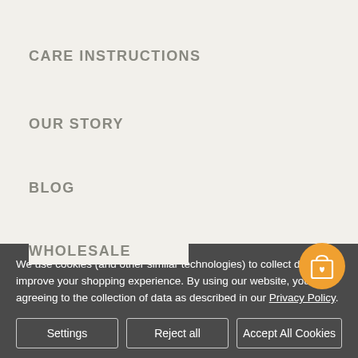CARE INSTRUCTIONS
OUR STORY
BLOG
GIVING BACK
BRAND AMBASSADOR PROGRAM
WHOLESALE
We use cookies (and other similar technologies) to collect data to improve your shopping experience. By using our website, you're agreeing to the collection of data as described in our Privacy Policy.
Settings | Reject all | Accept All Cookies